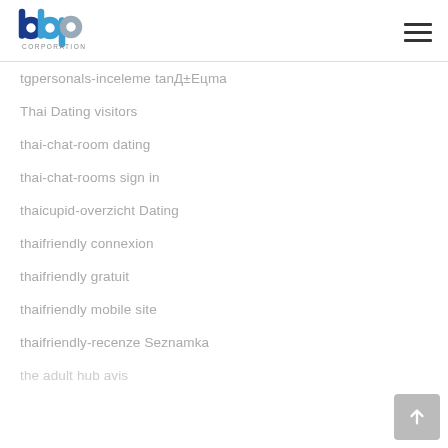[Figure (logo): BBP Corporation logo with blue and grey letterforms and 'CORPORATION' text below]
tgpersonals-inceleme tanД±Eцma
Thai Dating visitors
thai-chat-room dating
thai-chat-rooms sign in
thaicupid-overzicht Dating
thaifriendly connexion
thaifriendly gratuit
thaifriendly mobile site
thaifriendly-recenze Seznamka
the adult hub avis